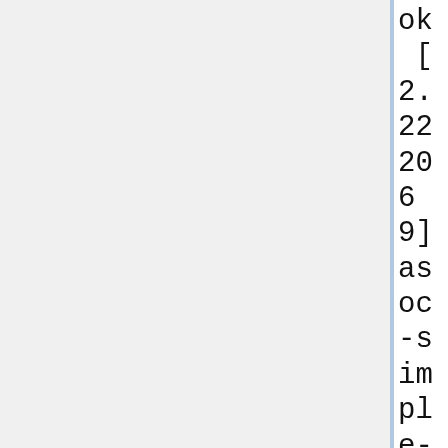ok
 [    2.222069] asoc-simple-card sound: ASoC: no DMI vendor name!
 [    2.230113] [drm] Supports vblank timestamp caching Rev 2 (21.10.2013).
 [    2.236736] [drm] No driver support for vblank timestamp query.
 [    2.243646] renesas-cpg-mssr e6150000.clock-controller: Cannot get module clock 600: -2
 [    2.251676] rcar-fcp fea3f000.fcp: failed to add to PM domain always-on: -2
 [    2.259979] renesas-cpg-mssr e6150000.clock-